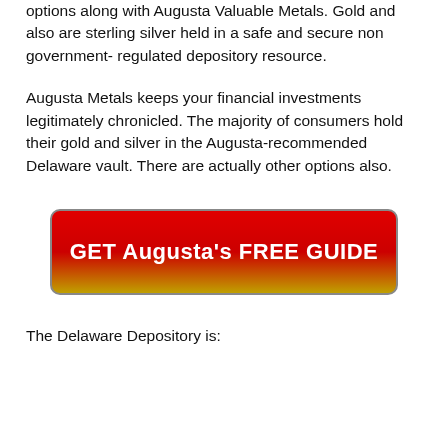options along with Augusta Valuable Metals. Gold and also are sterling silver held in a safe and secure non government- regulated depository resource.
Augusta Metals keeps your financial investments legitimately chronicled. The majority of consumers hold their gold and silver in the Augusta-recommended Delaware vault. There are actually other options also.
[Figure (other): Red to gold gradient call-to-action button with white bold text reading GET Augusta's FREE GUIDE]
The Delaware Depository is: